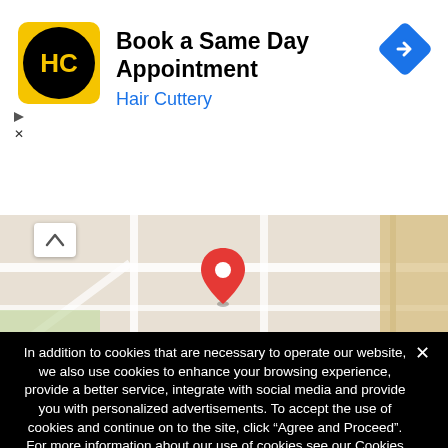[Figure (screenshot): Hair Cuttery advertisement banner with logo (HC in black circle on yellow background), title 'Book a Same Day Appointment', subtitle 'Hair Cuttery' in blue, and a blue diamond navigation icon on the right]
[Figure (map): Google Maps screenshot showing a street map with a red location pin marker in the center]
In addition to cookies that are necessary to operate our website, we also use cookies to enhance your browsing experience, provide a better service, integrate with social media and provide you with personalized advertisements. To accept the use of cookies and continue on to the site, click “Agree and Proceed”. For more information about our use of cookies see our Cookies Policy.
Agree and Proceed  Cookies Policy